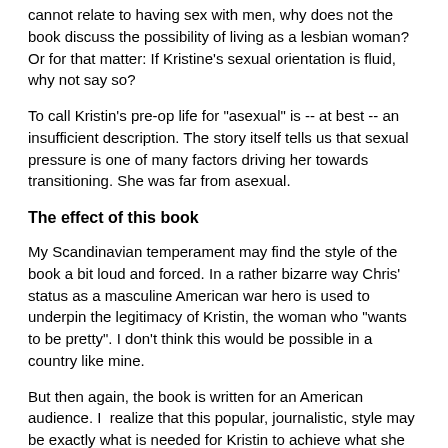cannot relate to having sex with men, why does not the book discuss the possibility of living as a lesbian woman? Or for that matter: If Kristine's sexual orientation is fluid, why not say so?
To call Kristin's pre-op life for "asexual" is -- at best -- an insufficient description. The story itself tells us that sexual pressure is one of many factors driving her towards transitioning. She was far from asexual.
The effect of this book
My Scandinavian temperament may find the style of the book a bit loud and forced. In a rather bizarre way Chris' status as a masculine American war hero is used to underpin the legitimacy of Kristin, the woman who "wants to be pretty". I don't think this would be possible in a country like mine.
But then again, the book is written for an American audience. I  realize that this popular, journalistic, style may be exactly what is needed for Kristin to achieve what she set out to do by having this book published: namely, to stop transgender